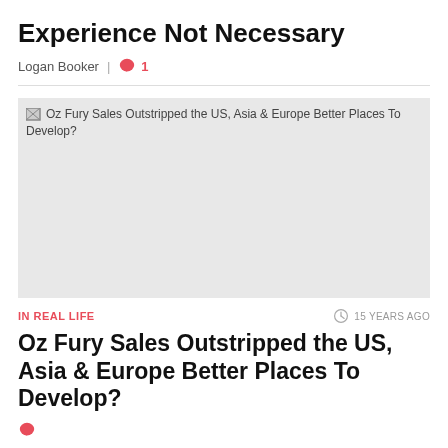Experience Not Necessary
Logan Booker  |  💬 1
[Figure (photo): Broken image placeholder for article: Oz Fury Sales Outstripped the US, Asia & Europe Better Places To Develop?]
IN REAL LIFE
15 YEARS AGO
Oz Fury Sales Outstripped the US, Asia & Europe Better Places To Develop?